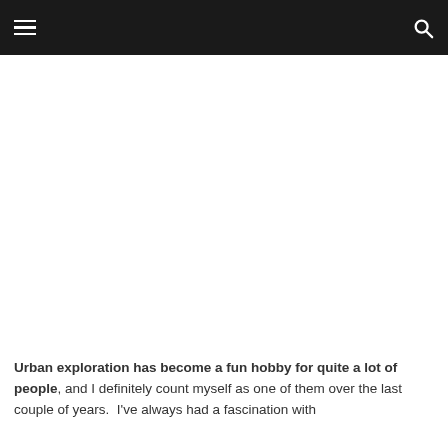Urban exploration has become a fun hobby for quite a lot of people, and I definitely count myself as one of them over the last couple of years.  I've always had a fascination with